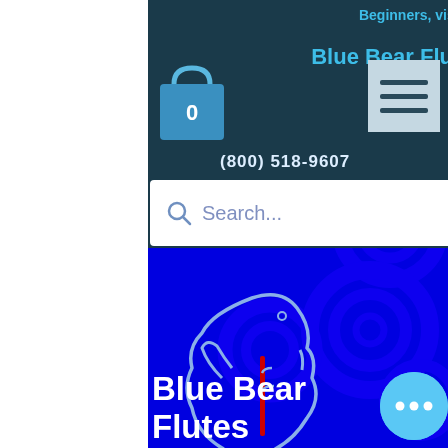Beginners, visit here first
Blue Bear Flutes
(800) 518-9607
[Figure (screenshot): Search bar with placeholder text 'Search...']
[Figure (logo): Blue Bear Flutes mascot logo - lizard/bear outline holding a red flute on blue background with spiral pattern]
Blue Bear Flutes